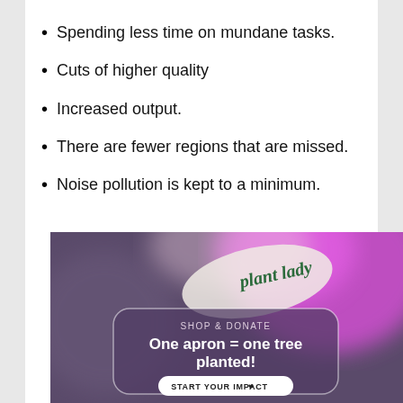Spending less time on mundane tasks.
Cuts of higher quality
Increased output.
There are fewer regions that are missed.
Noise pollution is kept to a minimum.
[Figure (photo): Advertisement image with blurred purple and pink background, text reading 'plant lady' at top, and a rounded rectangle containing 'SHOP & DONATE', 'One apron = one tree planted!', and a 'START YOUR IMPACT' button with a heart icon.]